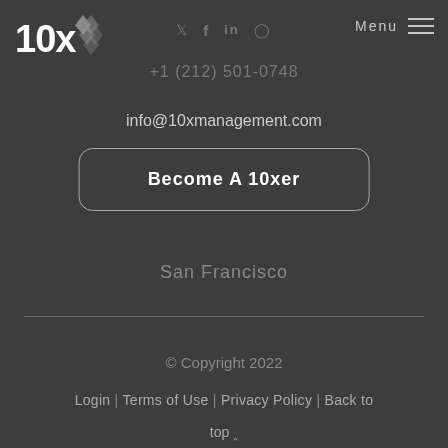[Figure (logo): 10x logo with stylized X graphic in white on dark background]
Twitter  Facebook  LinkedIn  Instagram (social icons)
Menu (hamburger menu icon)
+1 (212) 501-0748
info@10xmanagement.com
Become A 10xer
San Francisco
© Copyright 2022
Login | Terms of Use | Privacy Policy | Back to top ^